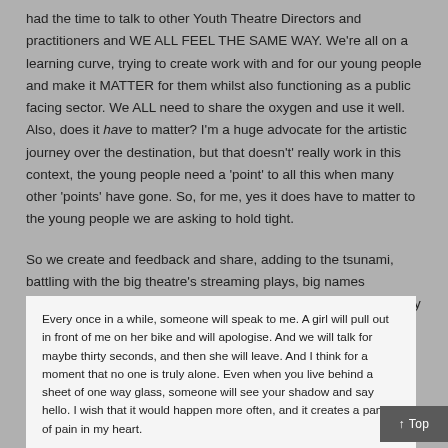had the time to talk to other Youth Theatre Directors and practitioners and WE ALL FEEL THE SAME WAY. We're all on a learning curve, trying to create work with and for our young people and make it MATTER for them whilst also functioning as a public facing sector. We ALL need to share the oxygen and use it well. Also, does it have to matter? I'm a huge advocate for the artistic journey over the destination, but that doesn't' really work in this context, the young people need a 'point' to all this when many other 'points' have gone. So, for me, yes it does have to matter to the young people we are asking to hold tight.
So we create and feedback and share, adding to the tsunami, battling with the big theatre's streaming plays, big names performing myriad things in myriad ways, companies trying to stay afloat and relevant as the water rises, and the smaller ones, the names not yet known throw out their contributions.
Every once in a while, someone will speak to me. A girl will pull out in front of me on her bike and will apologise. And we will talk for maybe thirty seconds, and then she will leave. And I think for a moment that no one is truly alone. Even when you live behind a sheet of one way glass, someone will see your shadow and say hello. I wish that it would happen more often, and it creates a pang of pain in my heart.